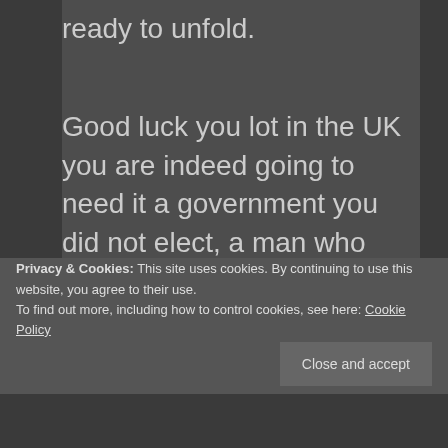ready to unfold.
Good luck you lot in the UK you are indeed going to need it a government you did not elect, a man who makes the Nazi party look like flower sellers, and the many in the UK who do not care or will not care....well the ones who do not or will not care may indeed be the ones
Privacy & Cookies: This site uses cookies. By continuing to use this website, you agree to their use.
To find out more, including how to control cookies, see here: Cookie Policy
Close and accept